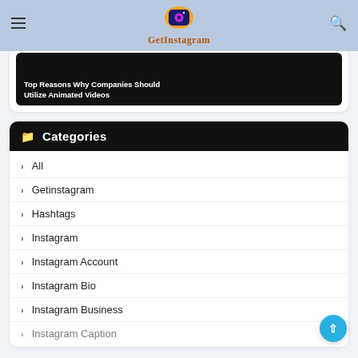GetInstagram — navigation bar with hamburger menu, logo, and search icon
[Figure (screenshot): Partially visible video thumbnail card with dark background and white text overlay reading 'Top Reasons Why Companies Should Utilize Animated Videos']
Categories
All
Getinstagram
Hashtags
Instagram
Instagram Account
Instagram Bio
Instagram Business
Instagram Caption